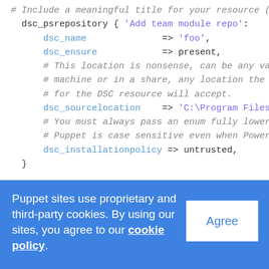# Include a meaningful title for your resource (
  dsc_psrepository { 'Add team module repo':
      dsc_name              => 'foo',
      dsc_ensure            => present,
      # This location is nonsense, can be any vali
      # machine or in a share, any location the So
      # for the DSC resource will accept.
      dsc_sourcelocation    => 'C:\Program Files'
      # You must always pass an enum fully lower-c
      # Puppet is case sensitive even when PowerSh
      dsc_installationpolicy => untrusted,
  }
Puppet sites use proprietary and third-party cookies. By using our sites, you agree to our cookie policy.